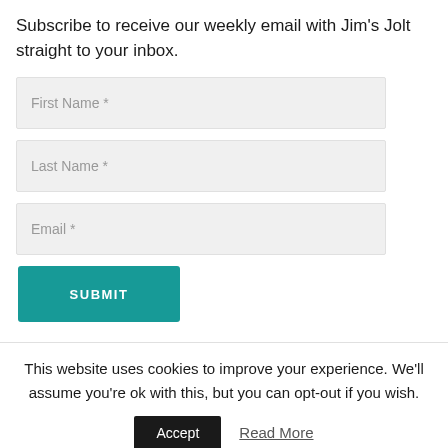Subscribe to receive our weekly email with Jim's Jolt straight to your inbox.
[Figure (other): Web form with First Name, Last Name, Email fields and a SUBMIT button]
This website uses cookies to improve your experience. We'll assume you're ok with this, but you can opt-out if you wish.
Accept   Read More